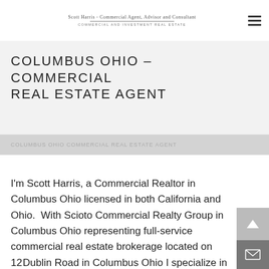Scott Harris - Commercial Agent, Advisor and Consultant | COMMERCIAL AND INVESTMENT REAL ESTATE
COLUMBUS OHIO – COMMERCIAL REAL ESTATE AGENT
COLUMBUS OHIO COMMERCIAL REAL ESTATE AGENT
I'm Scott Harris, a Commercial Realtor in Columbus Ohio licensed in both California and Ohio.  With Scioto Commercial Realty Group in Columbus Ohio representing full-service commercial real estate brokerage located on 1250 Dublin Road in Columbus Ohio I specialize in